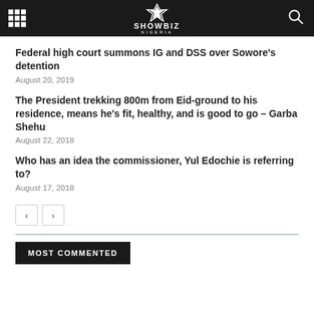Showbiz Nigeria
Federal high court summons IG and DSS over Sowore's detention
August 20, 2019
The President trekking 800m from Eid-ground to his residence, means he's fit, healthy, and is good to go – Garba Shehu
August 22, 2018
Who has an idea the commissioner, Yul Edochie is referring to?
August 17, 2018
MOST COMMENTED